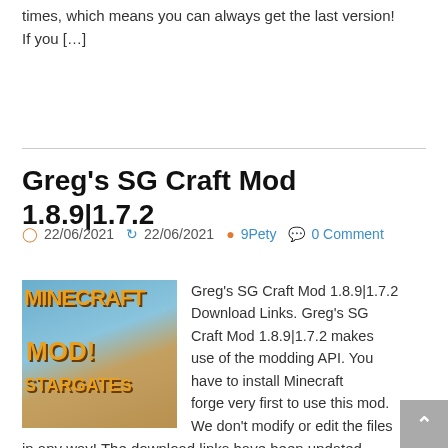times, which means you can always get the last version! If you […]
Greg's SG Craft Mod 1.8.9|1.7.2
22/06/2021  22/06/2021  9Pety  0 Comment
[Figure (screenshot): Minecraft mod thumbnail showing 'MINECRAFT MOD! STARGATE' text on a sandy/blue background]
Greg's SG Craft Mod 1.8.9|1.7.2 Download Links. Greg's SG Craft Mod 1.8.9|1.7.2 makes use of the modding API. You have to install Minecraft forge very first to use this mod. We don't modify or edit the files in any way! The download links have been updated every 3 times, which means you can always get the […]